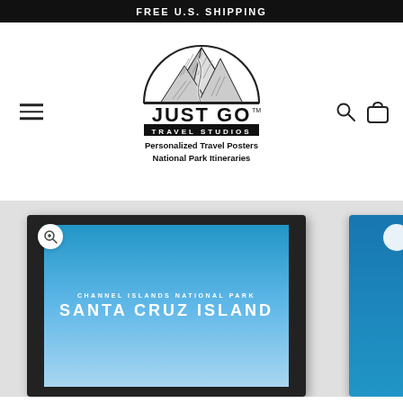FREE U.S. SHIPPING
[Figure (logo): Just Go Travel Studios logo with mountain illustration, text 'JUST GO TRAVEL STUDIOS', tagline 'Personalized Travel Posters National Park Itineraries']
[Figure (photo): Product page showing a framed travel poster for Channel Islands National Park - Santa Cruz Island with blue gradient background. A partial second product card is visible on the right edge.]